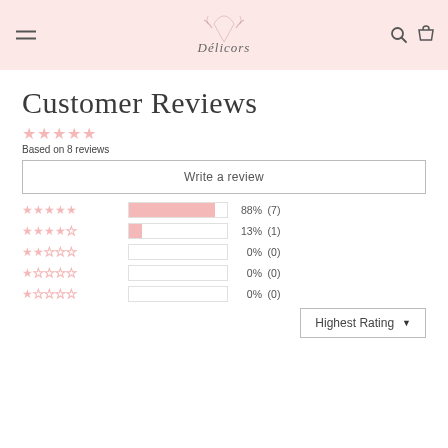Délicors
Customer Reviews
Based on 8 reviews
Write a review
[Figure (other): Star rating breakdown: 5 stars 88% (7), 4 stars 13% (1), 3 stars 0% (0), 2 stars 0% (0), 1 star 0% (0)]
Highest Rating